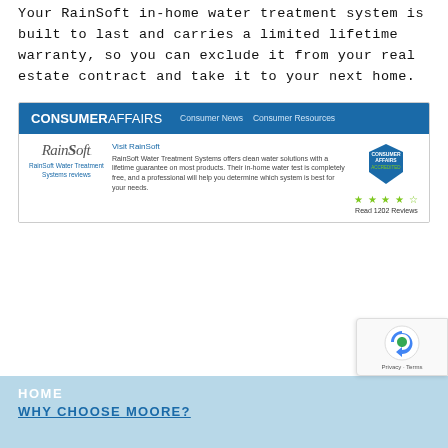Your RainSoft in-home water treatment system is built to last and carries a limited lifetime warranty, so you can exclude it from your real estate contract and take it to your next home.
[Figure (screenshot): Screenshot of ConsumerAffairs website showing a RainSoft Water Treatment Systems listing with blue header navigation bar, RainSoft logo, description text, a Consumer Affairs Accredited badge, 4.5-star rating, and a link to Read 1202 Reviews.]
HOME
WHY CHOOSE MOORE?